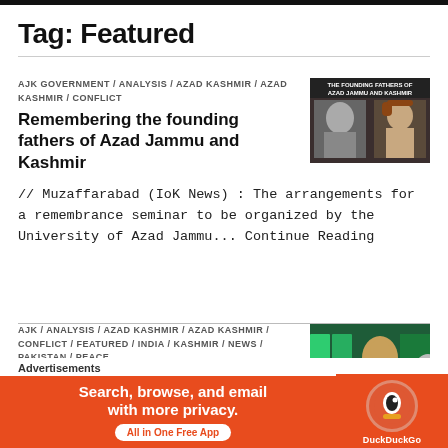Tag: Featured
AJK GOVERNMENT / ANALYSIS / AZAD KASHMIR / AZAD KASHMIR / CONFLICT
Remembering the founding fathers of Azad Jammu and Kashmir
// Muzaffarabad (IoK News) : The arrangements for a remembrance seminar to be organized by the University of Azad Jammu... Continue Reading
[Figure (photo): Black and white photo of two men — 'The Founding Fathers of Azad Jammu and Kashmir']
AJK / ANALYSIS / AZAD KASHMIR / AZAD KASHMIR / CONFLICT / FEATURED / INDIA / KASHMIR / NEWS / PAKISTAN / PEACE
[Figure (photo): Photo of a man speaking at a podium with Pakistan flags visible behind him; circular close button overlay]
Advertisements
[Figure (infographic): DuckDuckGo advertisement banner: 'Search, browse, and email with more privacy. All in One Free App' on orange background with DuckDuckGo logo]